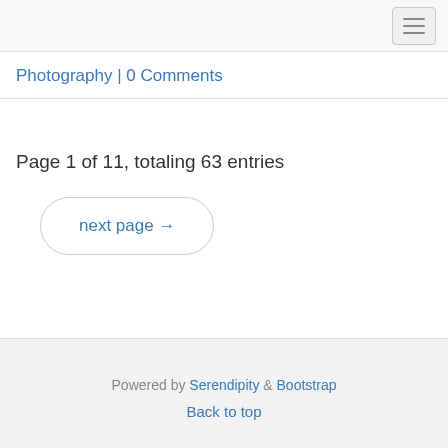Navigation menu button
Photography | 0 Comments
Page 1 of 11, totaling 63 entries
next page →
Powered by Serendipity & Bootstrap
Back to top